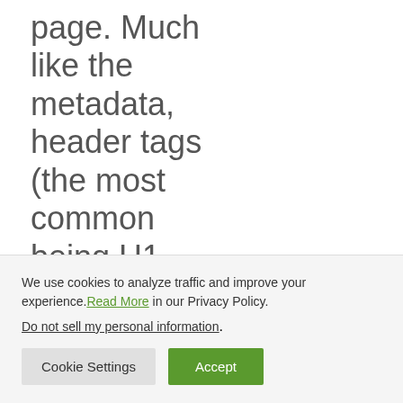page. Much like the metadata, header tags (the most common being H1, H2, and H3) serve as a kind of
We use cookies to analyze traffic and improve your experience. Read More in our Privacy Policy. Do not sell my personal information.
Cookie Settings   Accept